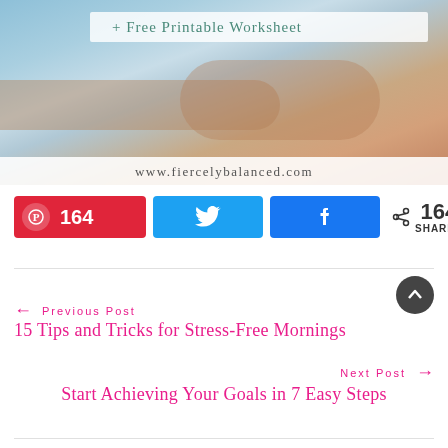[Figure (photo): Photo of a woman with arms outstretched near water, with a semi-transparent white banner overlay reading '+ Free Printable Worksheet' and website URL 'www.fiercelybalanced.com' at the bottom of the image.]
164
164 SHARES
← Previous Post
15 Tips and Tricks for Stress-Free Mornings
Next Post →
Start Achieving Your Goals in 7 Easy Steps